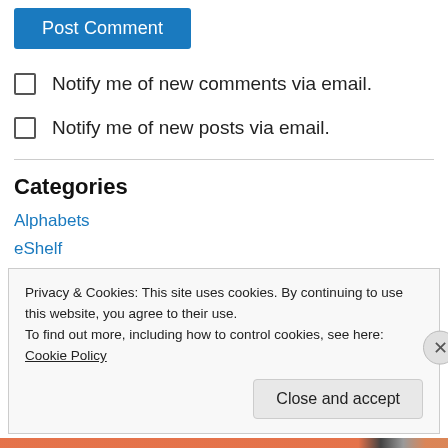Post Comment
Notify me of new comments via email.
Notify me of new posts via email.
Categories
Alphabets
eShelf
Independent Publishers – Book Launches
Other
Privacy & Cookies: This site uses cookies. By continuing to use this website, you agree to their use.
To find out more, including how to control cookies, see here: Cookie Policy
Close and accept